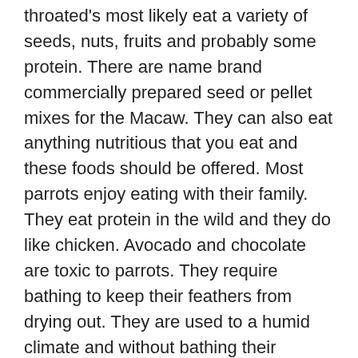throated's most likely eat a variety of seeds, nuts, fruits and probably some protein. There are name brand commercially prepared seed or pellet mixes for the Macaw. They can also eat anything nutritious that you eat and these foods should be offered. Most parrots enjoy eating with their family. They eat protein in the wild and they do like chicken. Avocado and chocolate are toxic to parrots. They require bathing to keep their feathers from drying out. They are used to a humid climate and without bathing their feathers will dry out and become itchy causing them to chew on them. You can spray them down with room temperature tap water or a commercial bird bath. Many owners just take their Macaw into the shower with them. They make shower perches for Macaws.
Social Behaviors
In captivity, these birds are mellow, friendly, and inquisitive. Blue throated macaws enjoy interaction with people as well as other birds. They rarely ever bite, though they do explore their surroundings with their tongue and beak. They are happy to entertain themselves as well; playing in their